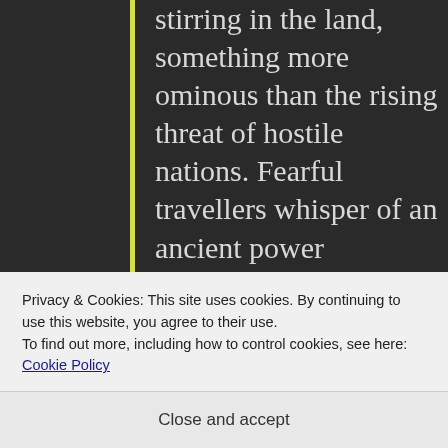stirring in the land, something more ominous than the rising threat of hostile nations. Fearful travellers whisper of an ancient power breathing over Thirna, changing it, waking it. In the very heart of these stirrings, Aedan encounters that which defies belief, leaving him speechless with terror... and
Privacy & Cookies: This site uses cookies. By continuing to use this website, you agree to their use.
To find out more, including how to control cookies, see here: Cookie Policy
Close and accept